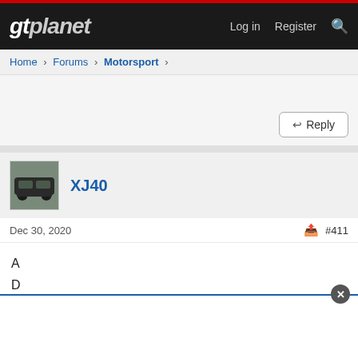gtplanet  Log in  Register
Home > Forums > Motorsport >
[Figure (screenshot): Reply button in top right of forum post area]
[Figure (photo): Avatar thumbnail of a car (dark sedan) for user XJ40]
XJ40
Dec 30, 2020   #411
A
D
E
[Figure (screenshot): Advertisement banner at bottom with close button]